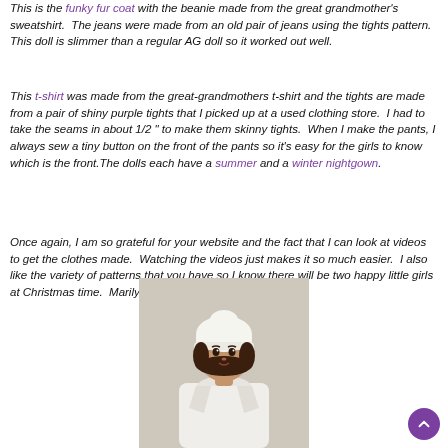This is the funky fur coat with the beanie made from the great grandmother's sweatshirt.  The jeans were made from an old pair of jeans using the tights pattern.  This doll is slimmer than a regular AG doll so it worked out well.
This t-shirt was made from the great-grandmothers t-shirt and the tights are made from a pair of shiny purple tights that I picked up at a used clothing store.  I had to take the seams in about 1/2 " to make them skinny tights.  When I make the pants, I always sew a tiny button on the front of the pants so it's easy for the girls to know which is the front.The dolls each have a summer and a winter nightgown.
Once again, I am so grateful for your website and the fact that I can look at videos to get the clothes made.  Watching the videos just makes it so much easier.  I also like the variety of patterns that you have so I know there will be two happy little girls at Christmas time.  Marilynn'
[Figure (photo): A doll wearing a white beanie hat and white fur coat, with brown hair, posed against a neutral background.]